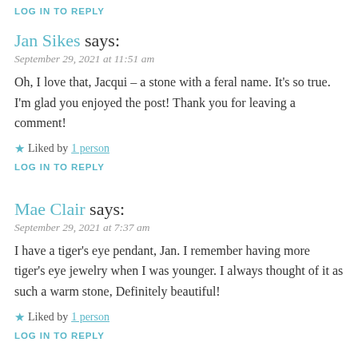LOG IN TO REPLY
Jan Sikes says:
September 29, 2021 at 11:51 am
Oh, I love that, Jacqui – a stone with a feral name. It's so true. I'm glad you enjoyed the post! Thank you for leaving a comment!
★ Liked by 1 person
LOG IN TO REPLY
Mae Clair says:
September 29, 2021 at 7:37 am
I have a tiger's eye pendant, Jan. I remember having more tiger's eye jewelry when I was younger. I always thought of it as such a warm stone, Definitely beautiful!
★ Liked by 1 person
LOG IN TO REPLY